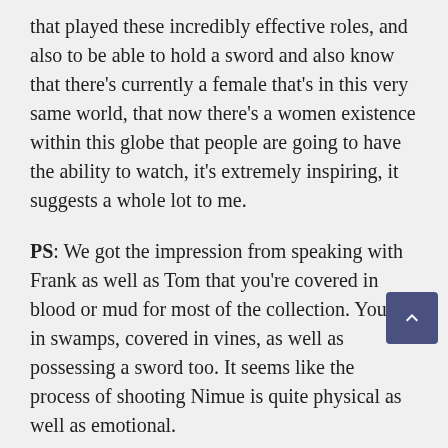that played these incredibly effective roles, and also to be able to hold a sword and also know that there's currently a female that's in this very same world, that now there's a women existence within this globe that people are going to have the ability to watch, it's extremely inspiring, it suggests a whole lot to me.
PS: We got the impression from speaking with Frank as well as Tom that you're covered in blood or mud for most of the collection. You're in swamps, covered in vines, as well as possessing a sword too. It seems like the process of shooting Nimue is quite physical as well as emotional.
KL: This is the very first time I have ever before shot something set in a duration, or in the center Ages. It's likewise the very first function I've ever before had that's called for physical parts; stunts, horse